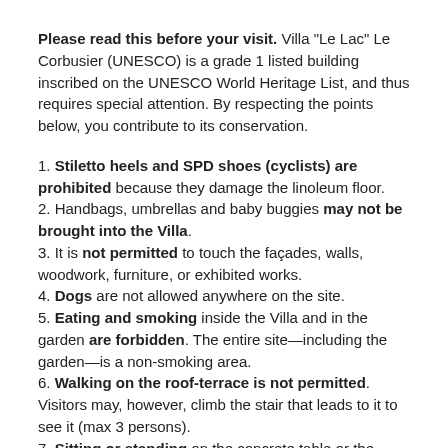Please read this before your visit. Villa “Le Lac” Le Corbusier (UNESCO) is a grade 1 listed building inscribed on the UNESCO World Heritage List, and thus requires special attention. By respecting the points below, you contribute to its conservation.
1. Stiletto heels and SPD shoes (cyclists) are prohibited because they damage the linoleum floor.
2. Handbags, umbrellas and baby buggies may not be brought into the Villa.
3. It is not permitted to touch the façades, walls, woodwork, furniture, or exhibited works.
4. Dogs are not allowed anywhere on the site.
5. Eating and smoking inside the Villa and in the garden are forbidden. The entire site—including the garden—is a non-smoking area.
6. Walking on the roof-terrace is not permitted. Visitors may, however, climb the stair that leads to it to see it (max 3 persons).
7. Sitting or standing on the concrete table or the “dog’s platform” (garden) is not allowed.
8. Visitors must not cross the wall on the lake side of the